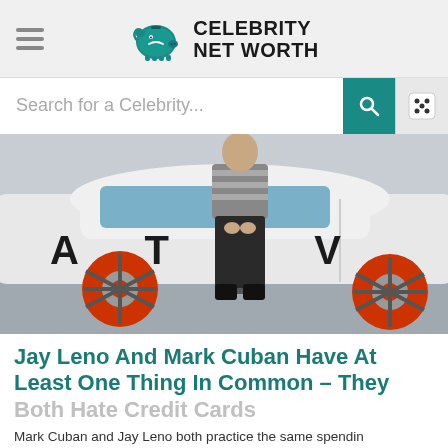Celebrity Net Worth
Search for a Celebrity...
[Figure (photo): Person in striped top and dark pants standing next to a white car with orange rims and 'ACTIV' lettering on the door]
Jay Leno And Mark Cuban Have At Least One Thing In Common – They Both Hate Credit Cards
Mark Cuban and Jay Leno both practice the same spendin